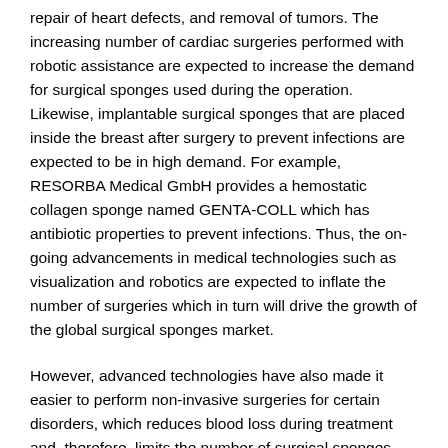repair of heart defects, and removal of tumors. The increasing number of cardiac surgeries performed with robotic assistance are expected to increase the demand for surgical sponges used during the operation. Likewise, implantable surgical sponges that are placed inside the breast after surgery to prevent infections are expected to be in high demand. For example, RESORBA Medical GmbH provides a hemostatic collagen sponge named GENTA-COLL which has antibiotic properties to prevent infections. Thus, the on-going advancements in medical technologies such as visualization and robotics are expected to inflate the number of surgeries which in turn will drive the growth of the global surgical sponges market.
However, advanced technologies have also made it easier to perform non-invasive surgeries for certain disorders, which reduces blood loss during treatment and, therefore, limits the number of surgical sponges needed. For example, laser fat removal treatment, which is gaining popularity